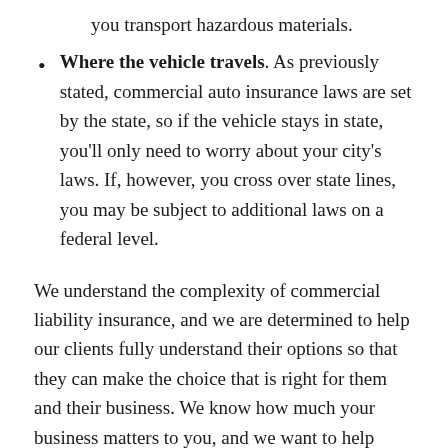you transport hazardous materials.
Where the vehicle travels. As previously stated, commercial auto insurance laws are set by the state, so if the vehicle stays in state, you'll only need to worry about your city's laws. If, however, you cross over state lines, you may be subject to additional laws on a federal level.
We understand the complexity of commercial liability insurance, and we are determined to help our clients fully understand their options so that they can make the choice that is right for them and their business. We know how much your business matters to you, and we want to help protect you from the unexpected. We proudly serve business owners throughout the local area, and we are